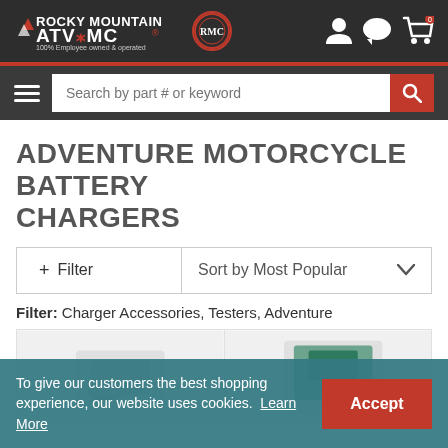[Figure (logo): Rocky Mountain ATV/MC logo with RMC circle badge and tagline '100% Employee owned & operated']
[Figure (screenshot): Search bar with placeholder 'Search by part # or keyword', hamburger menu icon, and red search button]
ADVENTURE MOTORCYCLE BATTERY CHARGERS
+ Filter | Sort by Most Popular
Filter: Charger Accessories, Testers, Adventure
[Figure (photo): Two product cards partially visible showing battery charger products]
To give our customers the best shopping experience, our website uses cookies. Learn More